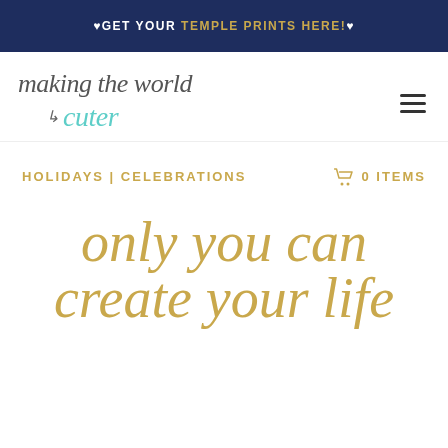❤GET YOUR TEMPLE PRINTS HERE!❤
[Figure (logo): Making the World Cuter logo with cursive/italic text and teal accent word 'cuter']
HOLIDAYS | CELEBRATIONS
🛒 0 ITEMS
only you can create your life